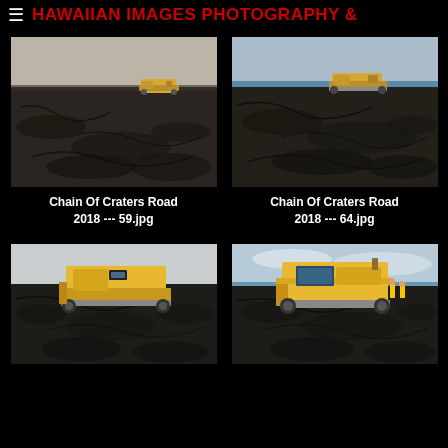☰ HAWAIIAN IMAGES PHOTOGRAPHY &
[Figure (photo): Bulldozer on a black lava field, Chain Of Craters Road 2018 --- 59.jpg]
Chain Of Craters Road
2018 --- 59.jpg
[Figure (photo): Bulldozer on a dark lava field with ocean visible, Chain Of Craters Road 2018 --- 64.jpg]
Chain Of Craters Road
2018 --- 64.jpg
[Figure (photo): Large yellow bulldozer on black lava field, bottom left photo]
[Figure (photo): Large yellow bulldozer with workers on black lava field, bottom right photo]